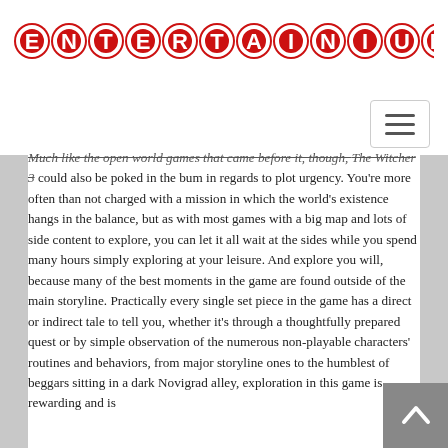[Figure (logo): ENTERTAINIUM logo — each letter in a white font inside a red circle with a white border, all caps, arranged in a row]
Much like the open world games that came before it, though, The Witcher 3 could also be poked in the bum in regards to plot urgency. You're more often than not charged with a mission in which the world's existence hangs in the balance, but as with most games with a big map and lots of side content to explore, you can let it all wait at the sides while you spend many hours simply exploring at your leisure. And explore you will, because many of the best moments in the game are found outside of the main storyline. Practically every single set piece in the game has a direct or indirect tale to tell you, whether it's through a thoughtfully prepared quest or by simple observation of the numerous non-playable characters' routines and behaviors, from major storyline ones to the humblest of beggars sitting in a dark Novigrad alley, exploration in this game is rewarding and is